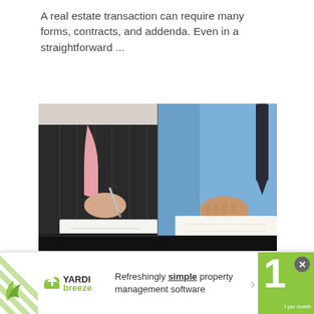A real estate transaction can require many forms, contracts, and addenda. Even in a straightforward ...
[Figure (photo): Two people at a desk signing documents — a woman in a dark pinstripe suit holding a pen over paper on the left, and a man in a light blue shirt with a tie resting his hand on a document on the right.]
December 30, 2019 | Author: Texas REALTORS® Staff
[Figure (other): Yardi Breeze advertisement banner: logo with cloud icon, text 'Refreshingly simple property management software', green triangle block on right with number 1 and 'per month' text. Close button top right.]